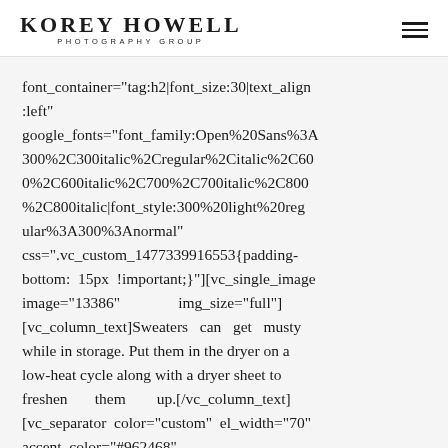KOREY HOWELL PHOTOGRAPHY GROUP
font_container="tag:h2|font_size:30|text_align:left" google_fonts="font_family:Open%20Sans%3A300%2C300italic%2Cregular%2Citalic%2C600%2C600italic%2C700%2C700italic%2C800%2C800italic|font_style:300%20light%20regular%3A300%3Anormal" css=".vc_custom_1477339916553{padding-bottom: 15px !important;}"][vc_single_image image="13386" img_size="full"][vc_column_text]Sweaters can get musty while in storage. Put them in the dryer on a low-heat cycle along with a dryer sheet to freshen them up.[/vc_column_text][vc_separator color="custom" el_width="70" accent_color="#962468"